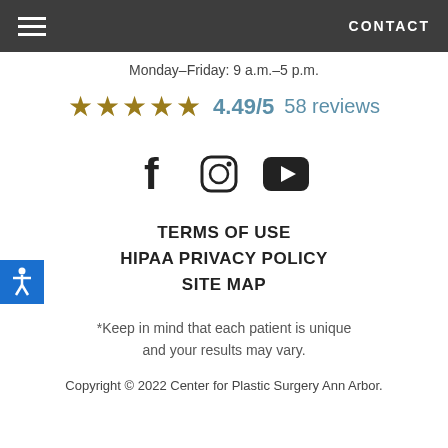CONTACT
Monday–Friday: 9 a.m.–5 p.m.
★★★★★ 4.49/5 58 reviews
[Figure (other): Social media icons: Facebook, Instagram, YouTube]
TERMS OF USE
HIPAA PRIVACY POLICY
SITE MAP
*Keep in mind that each patient is unique and your results may vary.
Copyright © 2022 Center for Plastic Surgery Ann Arbor.